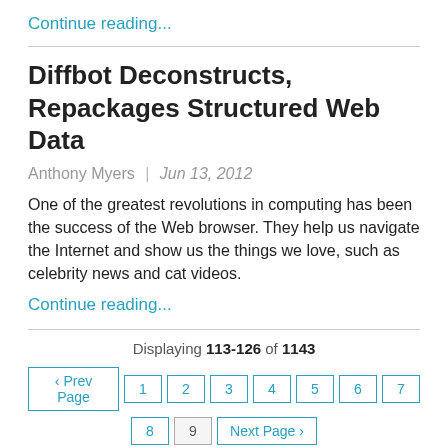Continue reading...
Diffbot Deconstructs, Repackages Structured Web Data
Anthony Myers  |  Jun 13, 2012
One of the greatest revolutions in computing has been the success of the Web browser. They help us navigate the Internet and show us the things we love, such as celebrity news and cat videos.
Continue reading...
Displaying 113-126 of 1143
‹ Prev Page  1  2  3  4  5  6  7  8  9  Next Page ›